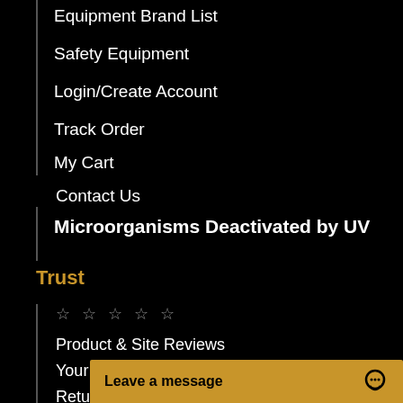Equipment Brand List
Safety Equipment
Login/Create Account
Track Order
My Cart
Contact Us
Microorganisms Deactivated by UV
Trust
☆ ☆ ☆ ☆ ☆
Product & Site Reviews
Your Privacy Rights
Return Policy
Terms & Conditions
Warranty Information
Leave a message